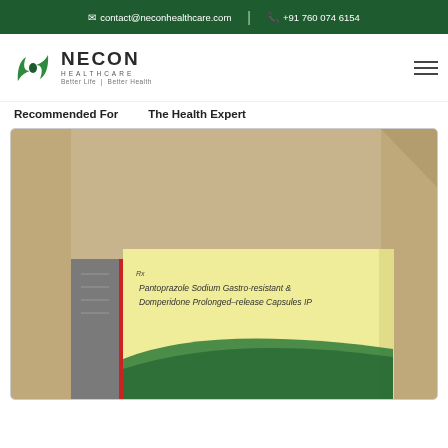contact@neconhealthcare.com | +91 760 074 6154
[Figure (logo): Necon Healthcare logo with green leaf icon and tagline Better Life | Better Health]
Recommended For
The Health Expert
[Figure (photo): Product photo showing a medicine box labeled Pantoprazole Sodium Gastro-resistant & Domperidone Prolonged-release Capsules IP on a beige/tan background]